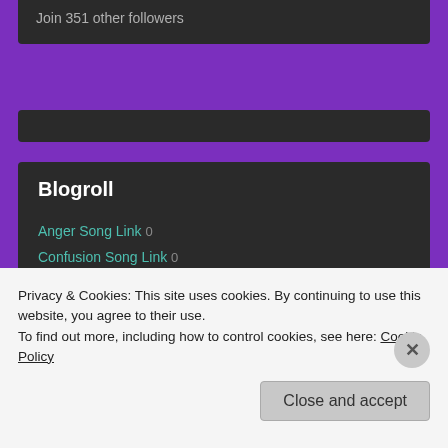Join 351 other followers
[Figure (other): Dark navigation/search bar widget]
Blogroll
Anger Song Link 0
Confusion Song Link 0
Contentment Song Link 0
Despair Song Link 0
Discuss 0
Privacy & Cookies: This site uses cookies. By continuing to use this website, you agree to their use.
To find out more, including how to control cookies, see here: Cookie Policy
Close and accept